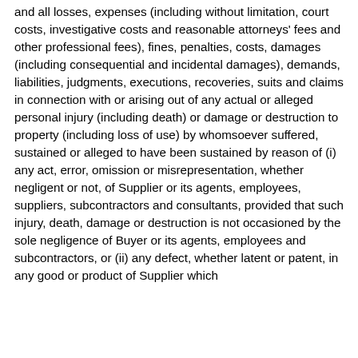and all losses, expenses (including without limitation, court costs, investigative costs and reasonable attorneys' fees and other professional fees), fines, penalties, costs, damages (including consequential and incidental damages), demands, liabilities, judgments, executions, recoveries, suits and claims in connection with or arising out of any actual or alleged personal injury (including death) or damage or destruction to property (including loss of use) by whomsoever suffered, sustained or alleged to have been sustained by reason of (i) any act, error, omission or misrepresentation, whether negligent or not, of Supplier or its agents, employees, suppliers, subcontractors and consultants, provided that such injury, death, damage or destruction is not occasioned by the sole negligence of Buyer or its agents, employees and subcontractors, or (ii) any defect, whether latent or patent, in any good or product of Supplier which